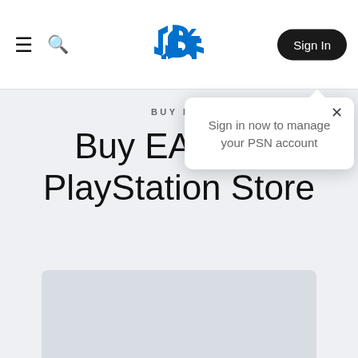PlayStation Store navigation bar with hamburger menu, search icon, PlayStation logo, and Sign In button
BUY DIG
Buy EA Sport PlayStation Store
Editions
[Figure (screenshot): Tooltip popup with close X button and text: Sign in now to manage your PSN account]
[Figure (other): Gray placeholder card at bottom of page]